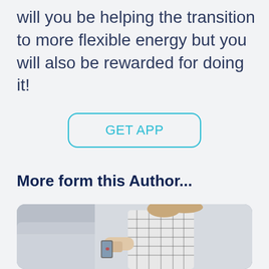will you be helping the transition to more flexible energy but you will also be rewarded for doing it!
GET APP
More form this Author...
[Figure (photo): Person wearing a plaid shirt holding a smartphone next to a car]